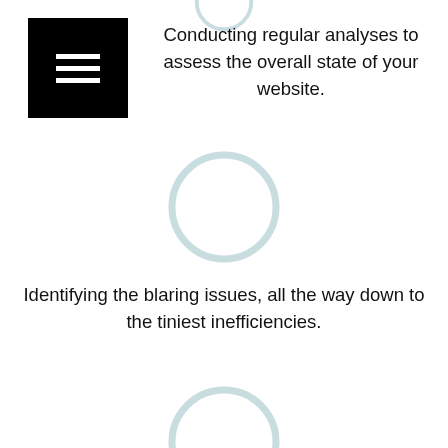[Figure (illustration): Black square icon with three white horizontal lines (hamburger menu icon)]
Conducting regular analyses to assess the overall state of your website.
[Figure (illustration): Light blue outlined circle (empty)]
Identifying the blaring issues, all the way down to the tiniest inefficiencies.
[Figure (illustration): Light blue outlined circle (empty)]
Offering application development and upgrades.
[Figure (illustration): Light blue outlined circle (empty, partially visible at bottom)]